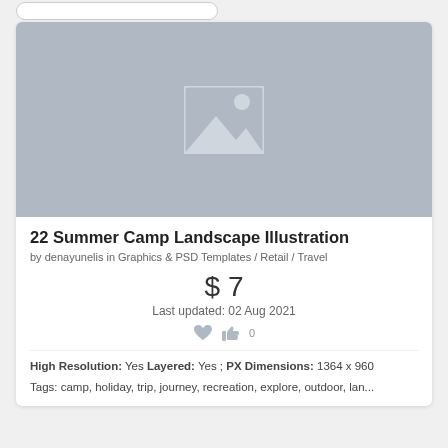[Figure (screenshot): Product listing card with placeholder image for '22 Summer Camp Landscape Illustration']
22 Summer Camp Landscape Illustration
by denayunelis in Graphics & PSD Templates / Retail / Travel
$ 7
Last updated: 02 Aug 2021
High Resolution: Yes  Layered: Yes ;  PX Dimensions: 1364 x 960
Tags: camp, holiday, trip, journey, recreation, explore, outdoor, lan...